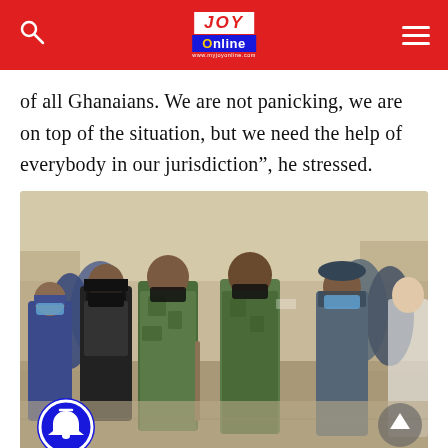JOY Online
of all Ghanaians. We are not panicking, we are on top of the situation, but we need the help of everybody in our jurisdiction”, he stressed.
[Figure (photo): Military and police officers in uniform and face masks walking together, with a notification bell button overlay at bottom left and a scroll-up arrow button at bottom right.]